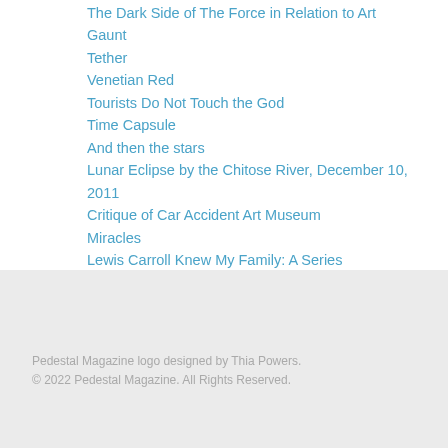The Dark Side of The Force in Relation to Art
Gaunt
Tether
Venetian Red
Tourists Do Not Touch the God
Time Capsule
And then the stars
Lunar Eclipse by the Chitose River, December 10, 2011
Critique of Car Accident Art Museum
Miracles
Lewis Carroll Knew My Family: A Series
Pedestal Magazine logo designed by Thia Powers.
© 2022 Pedestal Magazine. All Rights Reserved.